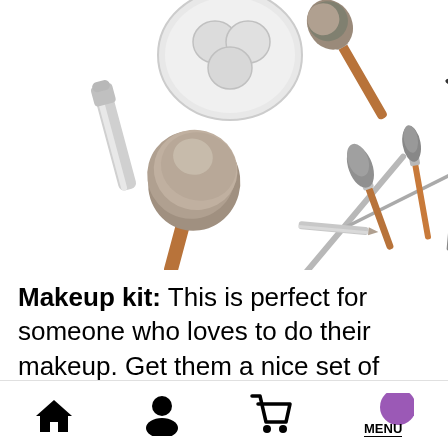[Figure (photo): Flat-lay photo of makeup brushes, powder compact, mascara wand, and other cosmetic tools on a white background]
Makeup kit: This is perfect for someone who loves to do their makeup. Get them a nice set of brushes, a new foundation, and some eyeshadow that they've been wanti
Home | Person | Cart | Menu